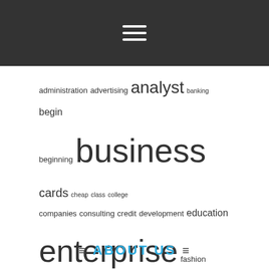[hamburger menu icon]
administration advertising analyst banking begin beginning business cards cheap class college companies consulting credit development education enterprise fashion greatest health house ideas improvement information intelligence management manager marketing master mastercard methods online planning playing proposal proposals small start starting strategy technology training travel write writing
ABOUT US